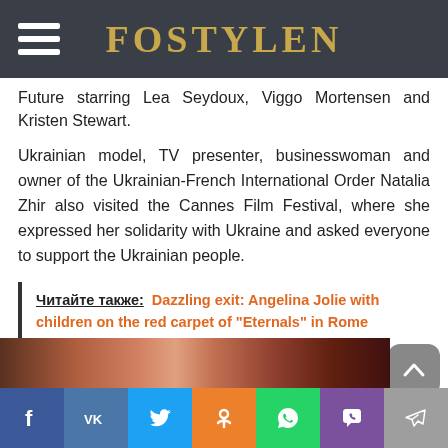FOSTYLEN
Future starring Lea Seydoux, Viggo Mortensen and Kristen Stewart.
Ukrainian model, TV presenter, businesswoman and owner of the Ukrainian-French International Order Natalia Zhir also visited the Cannes Film Festival, where she expressed her solidarity with Ukraine and asked everyone to support the Ukrainian people.
Читайте также: Dazzling exit: Angelina Jolie with children on the red carpet of "Eternals" in Rome
[Figure (photo): Red carpet event photo strip at bottom of page]
Social share buttons: Facebook, VK, Twitter, Odnoklassniki, WhatsApp, Viber, Telegram